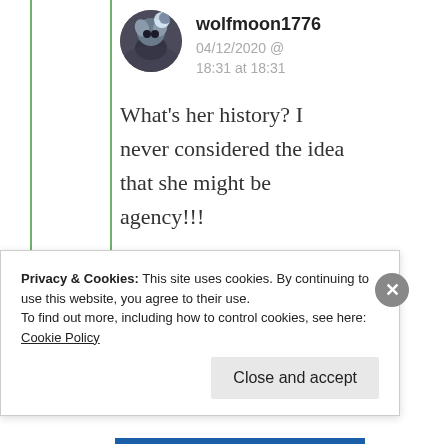wolfmoon1776
04/12/2020 @ 18:31 at 18:31
What’s her history? I never considered the idea that she might be agency!!!
★ Liked by 1 person
Privacy & Cookies: This site uses cookies. By continuing to use this website, you agree to their use.
To find out more, including how to control cookies, see here: Cookie Policy
Close and accept